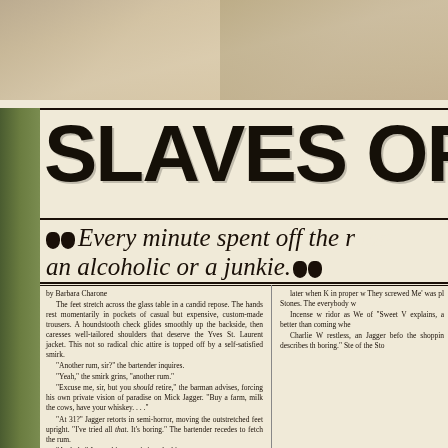[Figure (photo): Top portion of page showing photographs, partially cropped, with brownish/sepia tones suggesting vintage magazine photos.]
SLAVES OF R[OCK]
Every minute spent off the r[oad makes you] an alcoholic or a junkie.
by Barbara Charone
The feet stretch across the glass table in a candid repose. The hands rest momentarily in pockets of casual but expensive, custom-made trousers. A houndstooth check glides smoothly up the backside, then caresses well-tailored shoulders that deserve the Yves St. Laurent jacket. This not so radical chic attire is topped off by a self-satisfied smirk.
"Another rum, sir?" the bartender inquires.
"Yeah," the smirk grins, "another rum."
"Excuse me, sir, but you should retire," the barman advises, forcing his own private vision of paradise on Mick Jagger. "Buy a farm, milk the cows, have your whiskey. . . ."
"At 31?" Jagger retorts in semi-horror, moving the outstretched feet upright. "I've tried all that. It's boring." The bartender recedes to fetch the rum.
"Asshole." Jagger hisses an irritated whisper.
When the rum returns it's accompanied by another intruder, a European hippie dressed in continental denims and a tacky tourist Eiffel Tower t-shirt. Unlike the bartender, this visitor
later when K[eith] in proper w[ay] They screw[ed] Me' was pl[ayed] Stones. The everybody w[ho]
Incense w[as] ridor as We[…] of 'Sweet V[agina]' explains, a [nd] better than coming whe[n]
Charlie W[atts] restless, an[d] Jagger befo[re] the shoppin[g] describes th[e] boring." Ste[wart] of the Sto[nes]